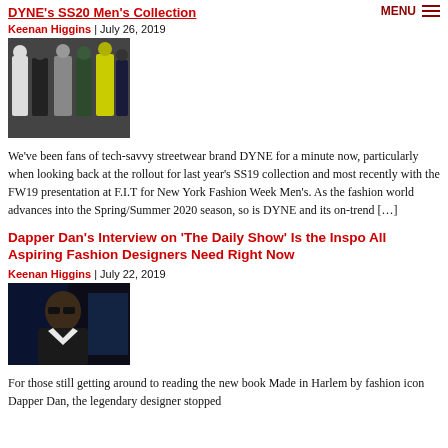DYNE's SS20 Men's Collection
Keenan Higgins | July 26, 2019
[Figure (photo): Fashion models wearing DYNE SS20 collection outfits]
We've been fans of tech-savvy streetwear brand DYNE for a minute now, particularly when looking back at the rollout for last year's SS19 collection and most recently with the FW19 presentation at F.I.T for New York Fashion Week Men's. As the fashion world advances into the Spring/Summer 2020 season, so is DYNE and its on-trend […]
Dapper Dan's Interview on 'The Daily Show' Is the Inspo All Aspiring Fashion Designers Need Right Now
Keenan Higgins | July 22, 2019
[Figure (photo): Dapper Dan wearing sunglasses during his interview on The Daily Show]
For those still getting around to reading the new book Made in Harlem by fashion icon Dapper Dan, the legendary designer stopped